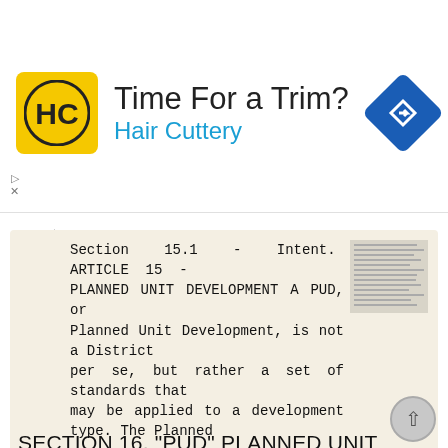[Figure (screenshot): Hair Cuttery advertisement banner with logo, 'Time For a Trim?' headline, blue subtitle 'Hair Cuttery', and navigation icon]
Section 15.1 - Intent. ARTICLE 15 - PLANNED UNIT DEVELOPMENT A PUD, or Planned Unit Development, is not a District per se, but rather a set of standards that may be applied to a development type. The Planned
More information →
SECTION 16. "PUD" PLANNED UNIT DEVELOPMENT OVERLAY DISTRICT
SECTION 6. "PUD" PLANNED UNIT DEVELOPMENT OVERLAY DISTRICT Subsection. Purpose. This district is established to achieve the coordinated integration of land parcels and large commercial and